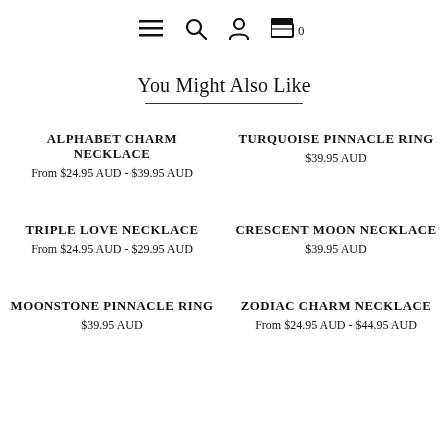Navigation icons: hamburger menu, search, account, cart (0)
You Might Also Like
ALPHABET CHARM NECKLACE
From $24.95 AUD - $39.95 AUD
TURQUOISE PINNACLE RING
$39.95 AUD
TRIPLE LOVE NECKLACE
From $24.95 AUD - $29.95 AUD
CRESCENT MOON NECKLACE
$39.95 AUD
MOONSTONE PINNACLE RING
$39.95 AUD
ZODIAC CHARM NECKLACE
From $24.95 AUD - $44.95 AUD